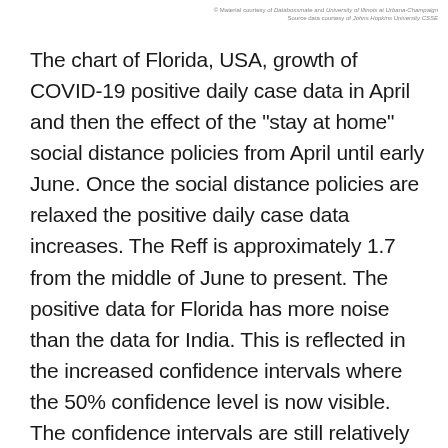© Material courtesy of Databossmate and University of Illinois at Urbana-Champaign
Source data courtesy of Johns Hopkins University CSSE
The chart of Florida, USA, growth of COVID-19 positive daily case data in April and then the effect of the "stay at home" social distance policies from April until early June. Once the social distance policies are relaxed the positive daily case data increases. The Reff is approximately 1.7 from the middle of June to present. The positive data for Florida has more noise than the data for India. This is reflected in the increased confidence intervals where the 50% confidence level is now visible. The confidence intervals are still relatively narrow showing the confidence we have in our improved SIR+B method.